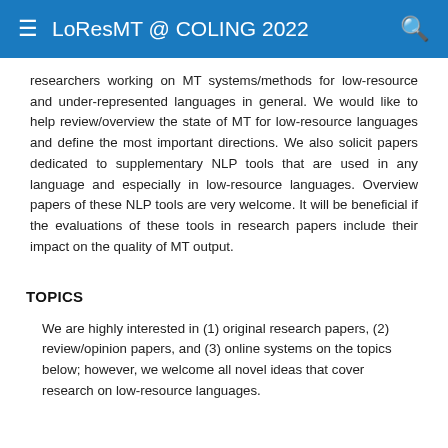LoResMT @ COLING 2022
researchers working on MT systems/methods for low-resource and under-represented languages in general. We would like to help review/overview the state of MT for low-resource languages and define the most important directions. We also solicit papers dedicated to supplementary NLP tools that are used in any language and especially in low-resource languages. Overview papers of these NLP tools are very welcome. It will be beneficial if the evaluations of these tools in research papers include their impact on the quality of MT output.
TOPICS
We are highly interested in (1) original research papers, (2) review/opinion papers, and (3) online systems on the topics below; however, we welcome all novel ideas that cover research on low-resource languages.